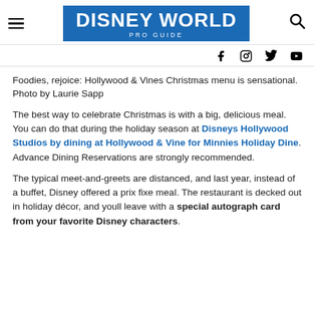DISNEY WORLD PRO GUIDE
Foodies, rejoice: Hollywood & Vines Christmas menu is sensational. Photo by Laurie Sapp
The best way to celebrate Christmas is with a big, delicious meal. You can do that during the holiday season at Disneys Hollywood Studios by dining at Hollywood & Vine for Minnies Holiday Dine. Advance Dining Reservations are strongly recommended.
The typical meet-and-greets are distanced, and last year, instead of a buffet, Disney offered a prix fixe meal. The restaurant is decked out in holiday décor, and youll leave with a special autograph card from your favorite Disney characters.